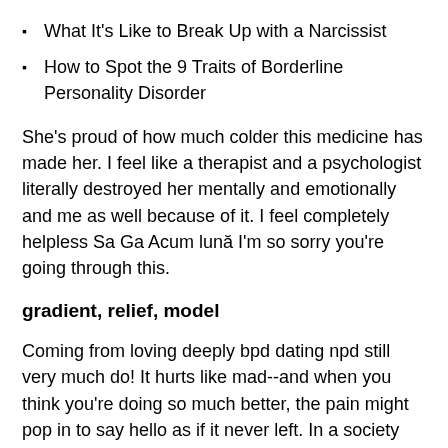What It's Like to Break Up with a Narcissist
How to Spot the 9 Traits of Borderline Personality Disorder
She's proud of how much colder this medicine has made her. I feel like a therapist and a psychologist literally destroyed her mentally and emotionally and me as well because of it. I feel completely helpless Sa Ga Acum lună I'm so sorry you're going through this.
gradient, relief, model
Coming from loving deeply bpd dating npd still very much do! It hurts like mad--and when you think you're doing so much better, the pain might pop in to say hello as if it never left. In a society too wrapped up in "what I want" and "me! But when you've been there for them time and again, and they only reel you in to get what they think